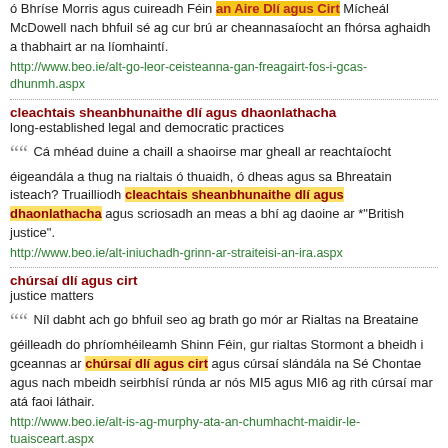ó Bhríse Morris agus cuireadh Féin an Aire Dlí agus Cirt Mícheál McDowell nach bhfuil sé ag cur brú ar cheannasaíocht an fhórsa aghaidh a thabhairt ar na líomhaintí.
http://www.beo.ie/alt-go-leor-ceisteanna-gan-freagairt-fos-i-gcas-dhunmh.aspx
cleachtais sheanbhunaithe dlí agus dhaonlathacha
long-established legal and democratic practices
Cá mhéad duine a chaill a shaoirse mar gheall ar reachtaíocht éigeandála a thug na rialtais ó thuaidh, ó dheas agus sa Bhreatain isteach? Truailliodh cleachtais sheanbhunaithe dlí agus dhaonlathacha agus scriosadh an meas a bhí ag daoine ar *"British justice".
http://www.beo.ie/alt-iniuchadh-grinn-ar-straiteisi-an-ira.aspx
chúrsaí dlí agus cirt
justice matters
Níl dabht ach go bhfuil seo ag brath go mór ar Rialtas na Breataine géilleadh do phríomhéileamh Shinn Féin, gur rialtas Stormont a bheidh i gceannas ar chúrsaí dlí agus cirt agus cúrsaí slándála na Sé Chontae agus nach mbeidh seirbhísí rúnda ar nós MI5 agus MI6 ag rith cúrsaí mar atá faoi láthair.
http://www.beo.ie/alt-is-ag-murphy-ata-an-chumhacht-maidir-le-tuaisceart.aspx
cúrsaí eitice agus dlí
ethical and legal matters